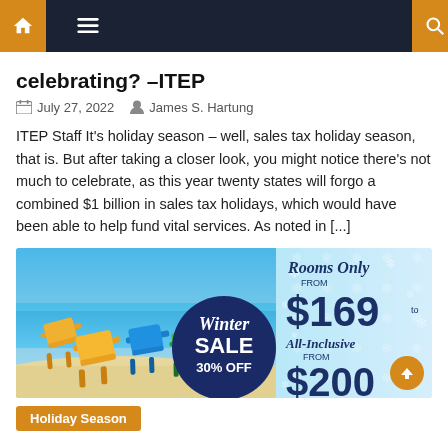Navigation bar with home, menu, and search icons
celebrating? –ITEP
July 27, 2022   James S. Hartung
ITEP Staff It's holiday season – well, sales tax holiday season, that is. But after taking a closer look, you might notice there's not much to celebrate, as this year twenty states will forgo a combined $1 billion in sales tax holidays, which would have been able to help fund vital services. As noted in [...]
[Figure (photo): Advertisement banner showing colorful beach chairs on a sandy beach with ocean in background. Features a dark blue circle with 'Winter SALE 30% OFF' text, and text on right side reading 'Rooms Only FROM $169' and 'All-Inclusive FROM $200']
Holiday Season